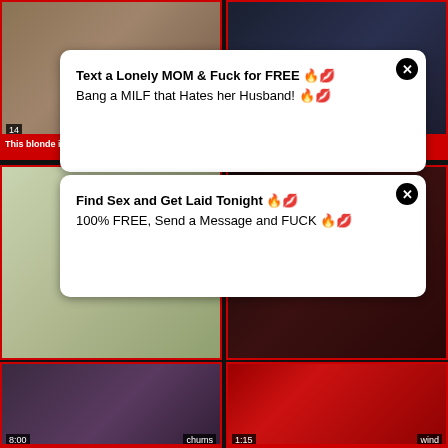[Figure (screenshot): Video thumbnail grid - adult content website with overlaid ads]
This blonde is slutty and dirty, you will
Chinese Hotel Fucking and Post-Fuck
chums mom takes it Cosplay Queens
Wind blow....sexy video redtube wind